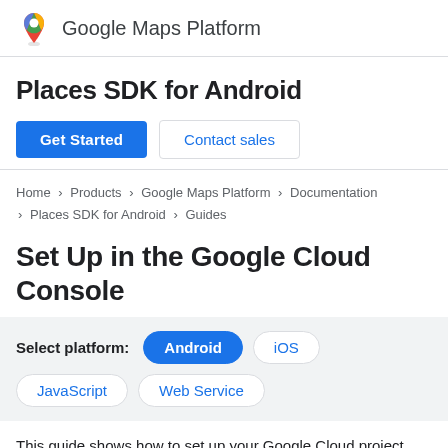Google Maps Platform
Places SDK for Android
Get Started | Contact sales
Home > Products > Google Maps Platform > Documentation > Places SDK for Android > Guides
Set Up in the Google Cloud Console
Select platform: Android iOS JavaScript Web Service
This guide shows how to set up your Google Cloud project before using the Google Maps Platform APIs. While you